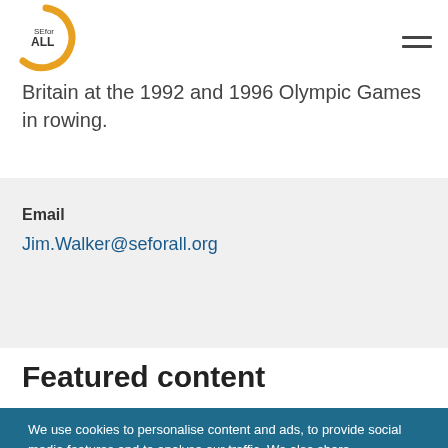[Figure (logo): SEfor ALL logo — circular crescent shape in gold/yellow with text SEfor ALL inside]
Britain at the 1992 and 1996 Olympic Games in rowing.
Email
Jim.Walker@seforall.org
Featured content
We use cookies to personalise content and ads, to provide social media features and to analyse our traffic. We also share information about your use of our site with our social media,